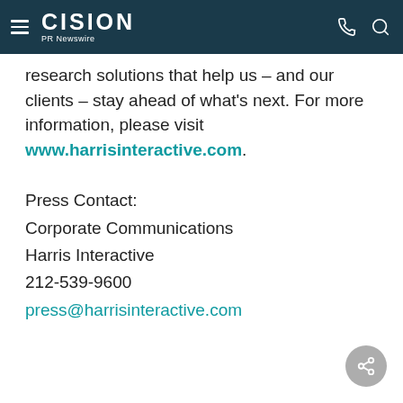CISION PR Newswire
research solutions that help us – and our clients – stay ahead of what's next. For more information, please visit www.harrisinteractive.com.
Press Contact:
Corporate Communications
Harris Interactive
212-539-9600
press@harrisinteractive.com